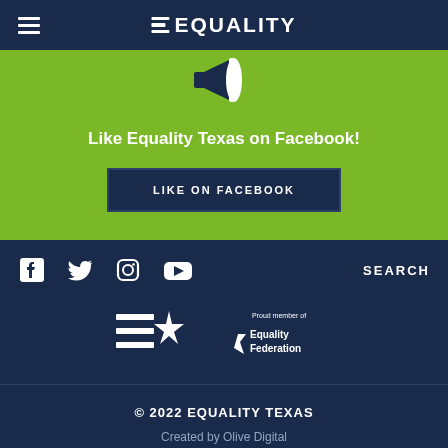EQUALITY
[Figure (screenshot): Green banner section with megaphone graphic at top, text 'Like Equality Texas on Facebook!' and a dark navy button 'LIKE ON FACEBOOK']
Like Equality Texas on Facebook!
LIKE ON FACEBOOK
[Figure (logo): Social media icons: Facebook, Twitter, Instagram, YouTube. SEARCH text on right.]
[Figure (logo): Equality Texas logo (stacked lines with Texas star) and Equality Federation proud member logo]
© 2022 EQUALITY TEXAS
Created by Olive Digital